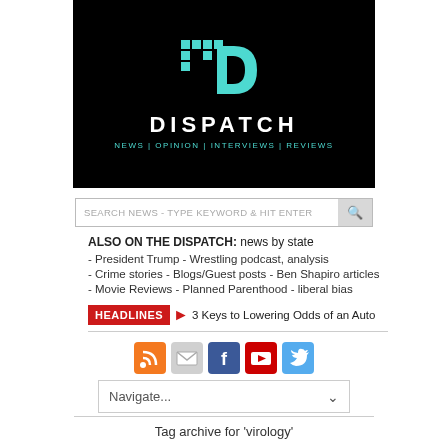[Figure (logo): Dispatch news logo: black background with teal/cyan stylized D and dot-matrix pattern, white DISPATCH text, teal navigation links NEWS | OPINION | INTERVIEWS | REVIEWS]
SEARCH NEWS - TYPE KEYWORD & HIT ENTER
ALSO ON THE DISPATCH: news by state
- President Trump - Wrestling podcast, analysis
- Crime stories - Blogs/Guest posts - Ben Shapiro articles
- Movie Reviews - Planned Parenthood - liberal bias
HEADLINES 3 Keys to Lowering Odds of an Auto
[Figure (infographic): Row of social media icons: RSS (orange), Email (grey), Facebook (blue), YouTube (red), Twitter (blue)]
Navigate...
Tag archive for 'virology'